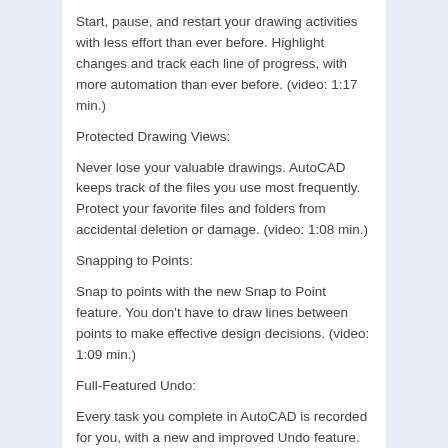Start, pause, and restart your drawing activities with less effort than ever before. Highlight changes and track each line of progress, with more automation than ever before. (video: 1:17 min.)
Protected Drawing Views:
Never lose your valuable drawings. AutoCAD keeps track of the files you use most frequently. Protect your favorite files and folders from accidental deletion or damage. (video: 1:08 min.)
Snapping to Points:
Snap to points with the new Snap to Point feature. You don't have to draw lines between points to make effective design decisions. (video: 1:09 min.)
Full-Featured Undo:
Every task you complete in AutoCAD is recorded for you, with a new and improved Undo feature. (video: 1:10 min.)
Pivot Point: